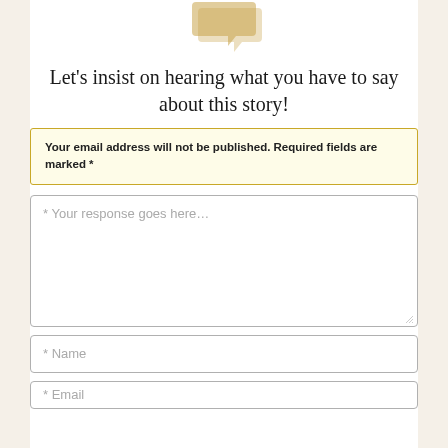[Figure (illustration): Decorative chat/speech bubble icon in tan/gold color at top center]
Let’s insist on hearing what you have to say about this story!
Your email address will not be published. Required fields are marked *
* Your response goes here…
* Name
* Email